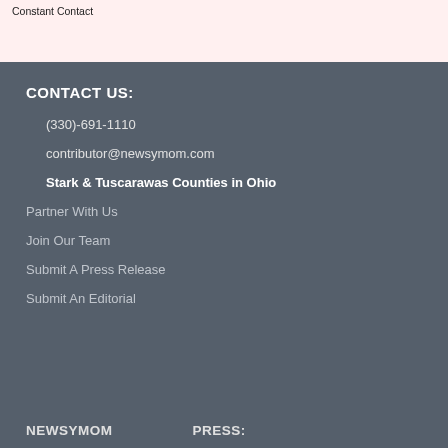Constant Contact
CONTACT US:
(330)-691-1110
contributor@newsymom.com
Stark & Tuscarawas Counties in Ohio
Partner With Us
Join Our Team
Submit A Press Release
Submit An Editorial
NEWSYMOM
PRESS: